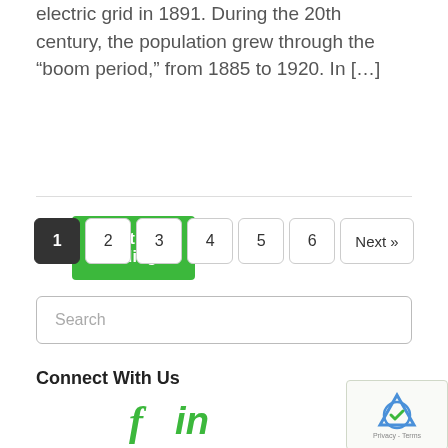electric grid in 1891. During the 20th century, the population grew through the “boom period,” from 1885 to 1920. In […]
Continue reading
1 2 3 4 5 6 Next »
Search
Connect With Us